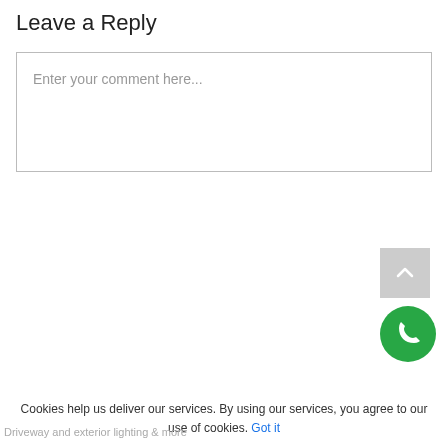Leave a Reply
Enter your comment here...
[Figure (other): Scroll-to-top button (upward chevron arrow on grey background) and green phone call button (circle with phone icon)]
Cookies help us deliver our services. By using our services, you agree to our use of cookies. Got it
Driveway and exterior lighting & more